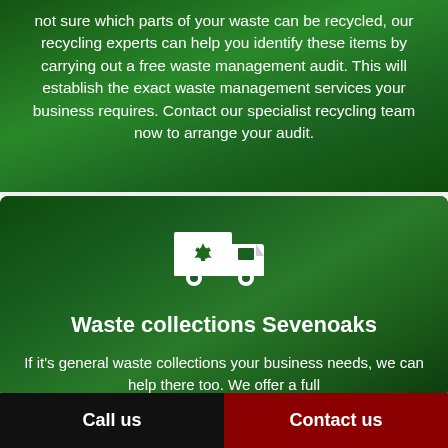not sure which parts of your waste can be recycled, our recycling experts can help you identify these items by carrying out a free waste management audit. This will establish the exact waste management services your business requires. Contact our specialist recycling team now to arrange your audit.
[Figure (illustration): White icon of a recycling truck with recycling symbol on its side]
Waste collections Sevenoaks
If it's general waste collections your business needs, we can help there too. We offer a full
Call us   Contact us